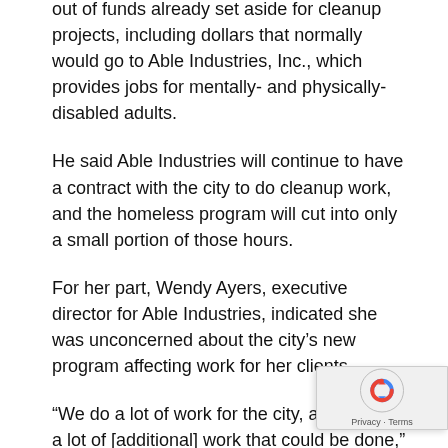out of funds already set aside for cleanup projects, including dollars that normally would go to Able Industries, Inc., which provides jobs for mentally- and physically-disabled adults.
He said Able Industries will continue to have a contract with the city to do cleanup work, and the homeless program will cut into only a small portion of those hours.
For her part, Wendy Ayers, executive director for Able Industries, indicated she was unconcerned about the city's new program affecting work for her clients.
“We do a lot of work for the city, and there is a lot of [additional] work that could be done,” she said noting that her workers use a lot of equipment and tools for cleanup and landscaping, while it appears the Homeless Work Program will involve projects that require just a labor force without much equipment.